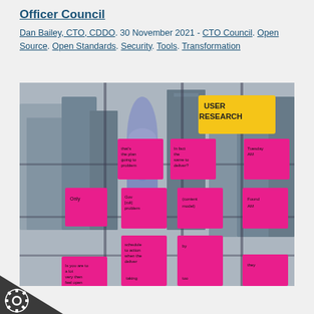Officer Council
Dan Bailey, CTO, CDDO. 30 November 2021 - CTO Council. Open Source. Open Standards. Security. Tools. Transformation
[Figure (photo): Photo of pink sticky notes on a glass window with city buildings visible in the background. A yellow sign reads 'USER RESEARCH'. The sticky notes contain handwritten text and are arranged in a grid pattern on the glass.]
Crown symbol logo